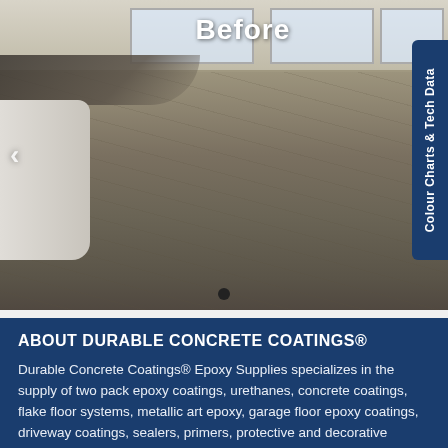[Figure (photo): Interior photo of a large concrete floor space labeled 'Before', showing unfinished/bare concrete with screed lines and marks. A white vehicle or object is visible on the left side. Dark tarpaulins are piled in the upper-left area. Windows are visible along the back wall. A navigation arrow is on the left, a dot indicator at the bottom, and a blue side tab labeled 'Colour Charts & Tech Data' on the right.]
ABOUT DURABLE CONCRETE COATINGS®
Durable Concrete Coatings® Epoxy Supplies specializes in the supply of two pack epoxy coatings, urethanes, concrete coatings, flake floor systems, metallic art epoxy, garage floor epoxy coatings, driveway coatings, sealers, primers, protective and decorative (The text continues below visible area)